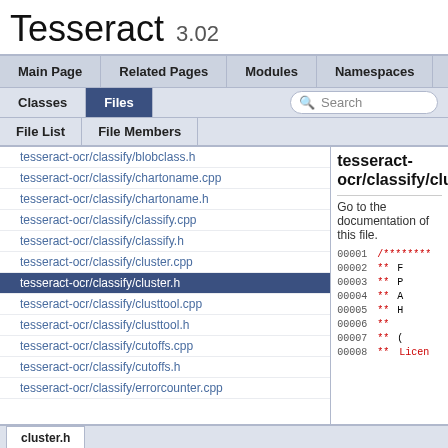Tesseract 3.02
Main Page | Related Pages | Modules | Namespaces
Classes | Files | Search
File List | File Members
tesseract-ocr/classify/blobclass.h
tesseract-ocr/classify/chartoname.cpp
tesseract-ocr/classify/chartoname.h
tesseract-ocr/classify/classify.cpp
tesseract-ocr/classify/classify.h
tesseract-ocr/classify/cluster.cpp
tesseract-ocr/classify/cluster.h
tesseract-ocr/classify/clusttool.cpp
tesseract-ocr/classify/clusttool.h
tesseract-ocr/classify/cutoffs.cpp
tesseract-ocr/classify/cutoffs.h
tesseract-ocr/classify/errorcounter.cpp
tesseract-ocr/classify/clu
Go to the documentation of this file.
[Figure (screenshot): Code listing showing lines 00001-00008 with line numbers and partial source code content]
cluster.h